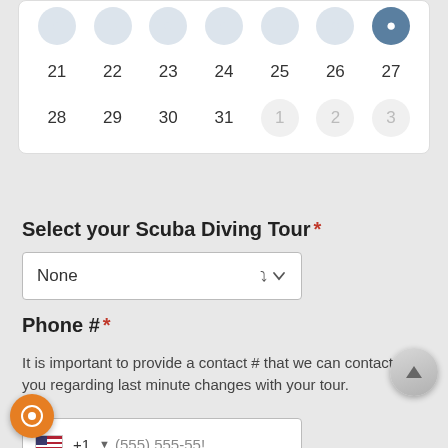[Figure (screenshot): Partial calendar showing rows with dates 21-27, 28-31 and next month 1-3 (grayed out). One date (in top row, position 7) appears selected with dark circle.]
Select your Scuba Diving Tour *
[Figure (screenshot): Dropdown select input showing 'None' with chevron arrow]
Phone # *
It is important to provide a contact # that we can contact you regarding last minute changes with your tour.
[Figure (screenshot): Phone number input field with US flag, +1 country code, and placeholder (555) 555-55]